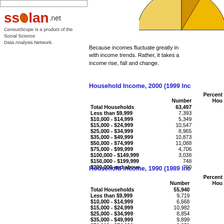[Figure (logo): ssdan.net logo with leaf icon. Text reads: CensusScope is a product of the Social Science Data Analysis Network.]
[Figure (pie-chart): Partial pie chart cropped at top of page, showing golden/yellow segments of household income distribution.]
Because incomes fluctuate greatly in with income trends. Rather, it takes a income rise, fall and change.
Household Income, 2000 (1999 Inc
|  | Number | Percent Hou |
| --- | --- | --- |
| Total Households | 63,497 |  |
| Less than $9,999 | 7,393 |  |
| $10,000 - $14,999 | 5,349 |  |
| $15,000 - $24,999 | 10,547 |  |
| $25,000 - $34,999 | 8,965 |  |
| $35,000 - $49,999 | 10,873 |  |
| $50,000 - $74,999 | 11,088 |  |
| $75,000 - $99,999 | 4,706 |  |
| $100,000 - $149,999 | 3,038 |  |
| $150,000 - $199,999 | 748 |  |
| $200,000 and above | 790 |  |
Household Income, 1990 (1989 Inc
|  | Number | Percent Hou |
| --- | --- | --- |
| Total Households | 55,940 |  |
| Less than $9,999 | 9,719 |  |
| $10,000 - $14,999 | 6,668 |  |
| $15,000 - $24,999 | 10,982 |  |
| $25,000 - $34,999 | 8,854 |  |
| $35,000 - $49,999 | 9,899 |  |
| $50,000 - $74,999 | 6,579 |  |